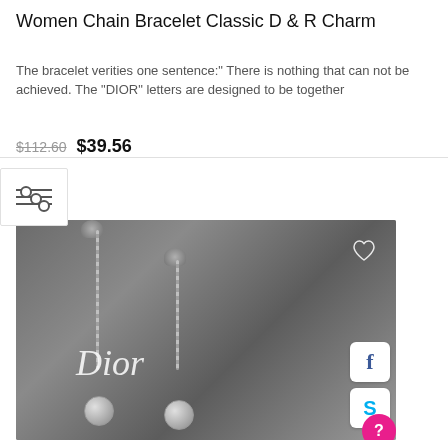Women Chain Bracelet Classic D & R Charm
The bracelet verities one sentence:" There is nothing that can not be achieved. The "DIOR" letters are designed to be together
$112.60  $39.56
[Figure (photo): Photo of Dior jewelry chain bracelet with charm balls displayed on a Dior branded box, with social media sharing buttons (Facebook, Skype) and a heart/wishlist icon overlay]